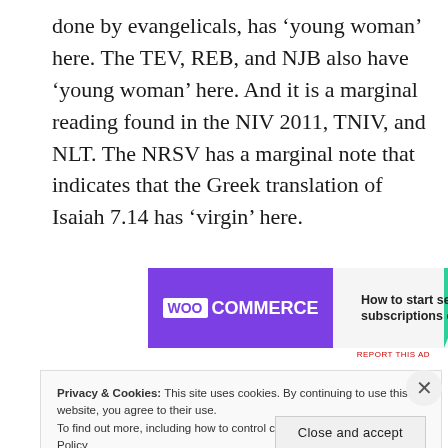done by evangelicals, has ‘young woman’ here. The TEV, REB, and NJB also have ‘young woman’ here. And it is a marginal reading found in the NIV 2011, TNIV, and NLT. The NRSV has a marginal note that indicates that the Greek translation of Isaiah 7.14 has ‘virgin’ here.
[Figure (other): WooCommerce advertisement banner: 'How to start selling subscriptions online']
Privacy & Cookies: This site uses cookies. By continuing to use this website, you agree to their use.
To find out more, including how to control cookies, see here: Cookie Policy
Close and accept